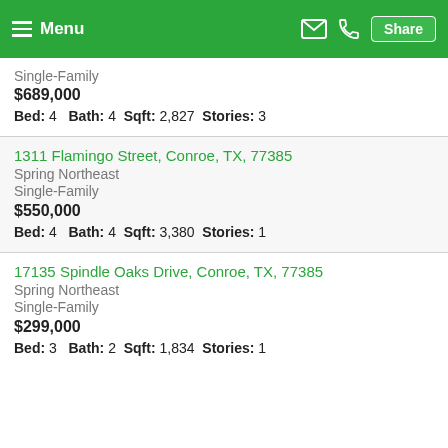Menu | Share
Single-Family
$689,000
Bed: 4   Bath: 4   Sqft: 2,827   Stories: 3
1311 Flamingo Street, Conroe, TX, 77385
Spring Northeast
Single-Family
$550,000
Bed: 4   Bath: 4   Sqft: 3,380   Stories: 1
17135 Spindle Oaks Drive, Conroe, TX, 77385
Spring Northeast
Single-Family
$299,000
Bed: 3   Bath: 2   Sqft: 1,834   Stories: 1